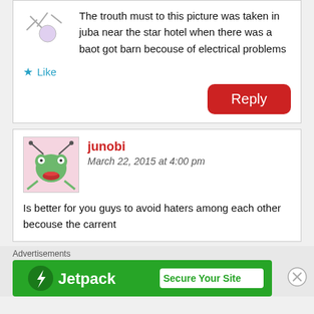The trouth must to this picture was taken in juba near the star hotel when there was a baot got barn becouse of electrical problems
Like
Reply
junobi
March 22, 2015 at 4:00 pm
Is better for you guys to avoid haters among each other becouse the carrent
Advertisements
[Figure (logo): Jetpack advertisement banner with green background, Jetpack logo on left and 'Secure Your Site' button on right]